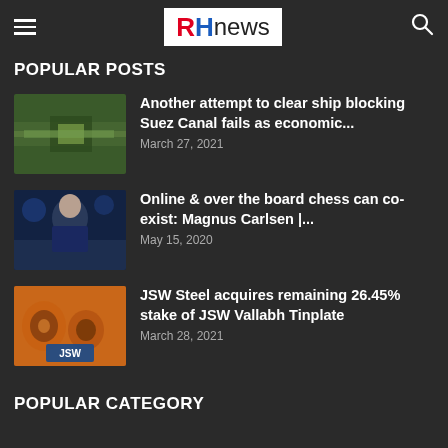[Figure (logo): RH news logo with hamburger menu and search icon]
POPULAR POSTS
[Figure (photo): Aerial view of ship blocking Suez Canal]
Another attempt to clear ship blocking Suez Canal fails as economic...
March 27, 2021
[Figure (photo): Magnus Carlsen chess player photo]
Online & over the board chess can co-exist: Magnus Carlsen |...
May 15, 2020
[Figure (photo): JSW Steel factory with JSW logo]
JSW Steel acquires remaining 26.45% stake of JSW Vallabh Tinplate
March 28, 2021
POPULAR CATEGORY